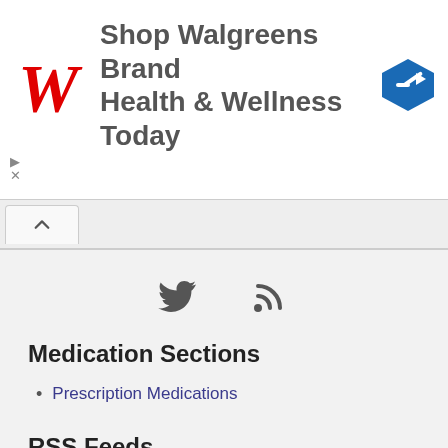[Figure (screenshot): Walgreens ad banner: Walgreens cursive W logo in red, text 'Shop Walgreens Brand Health & Wellness Today', blue navigation arrow icon on the right. Small ad control icons (play, close) on the left below.]
[Figure (screenshot): Browser tab strip with a caret/chevron-up tab button on the left.]
[Figure (infographic): Social media icons: Twitter bird icon and RSS feed icon, centered.]
Medication Sections
Prescription Medications
RSS Feeds
Prescription Medications Feed